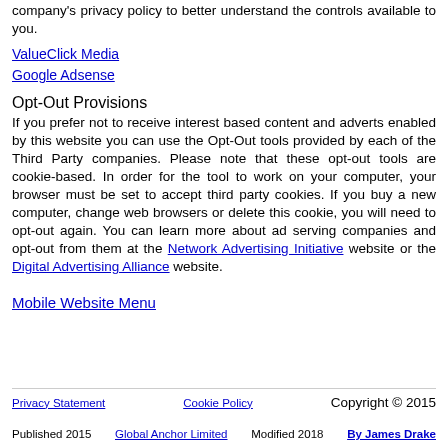company's privacy policy to better understand the controls available to you.
ValueClick Media
Google Adsense
Opt-Out Provisions
If you prefer not to receive interest based content and adverts enabled by this website you can use the Opt-Out tools provided by each of the Third Party companies. Please note that these opt-out tools are cookie-based. In order for the tool to work on your computer, your browser must be set to accept third party cookies. If you buy a new computer, change web browsers or delete this cookie, you will need to opt-out again. You can learn more about ad serving companies and opt-out from them at the Network Advertising Initiative website or the Digital Advertising Alliance website.
Mobile Website Menu
Privacy Statement   Cookie Policy   Copyright © 2015
Published 2015   Global Anchor Limited   Modified 2018   By James Drake